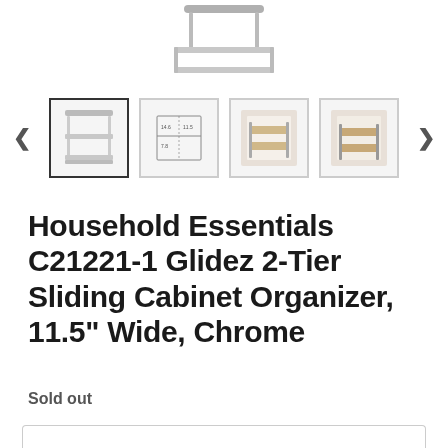[Figure (photo): Partial view of chrome sliding cabinet organizer product image at top]
[Figure (photo): Thumbnail carousel with 4 product images and left/right navigation arrows. First thumbnail is selected with dark border showing chrome 2-tier organizer, second shows technical diagram with measurements, third and fourth show product installed in white cabinet.]
Household Essentials C21221-1 Glidez 2-Tier Sliding Cabinet Organizer, 11.5" Wide, Chrome
Sold out